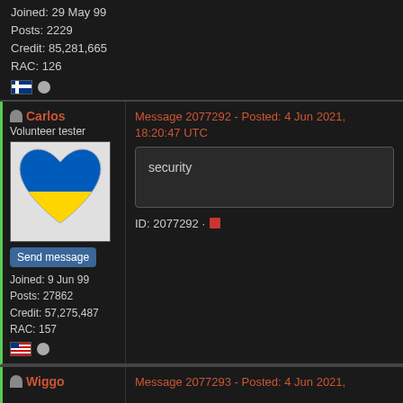Joined: 29 May 99
Posts: 2229
Credit: 85,281,665
RAC: 126
ID: 2077290 ·
Carlos
Volunteer tester
Message 2077292 - Posted: 4 Jun 2021, 18:20:47 UTC
[Figure (illustration): Blue and yellow heart emoji representing Ukrainian flag colors]
Send message
Joined: 9 Jun 99
Posts: 27862
Credit: 57,275,487
RAC: 157
security
ID: 2077292 ·
Wiggo
Message 2077293 - Posted: 4 Jun 2021,